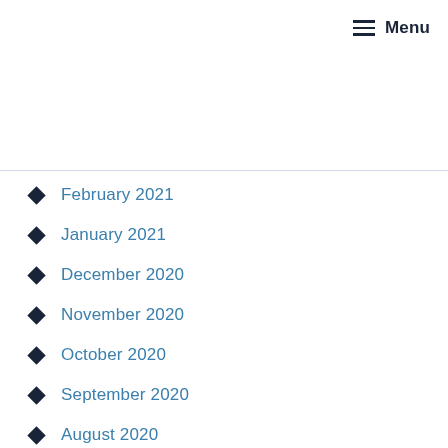Menu
February 2021
January 2021
December 2020
November 2020
October 2020
September 2020
August 2020
July 2020
June 2020
May 2020